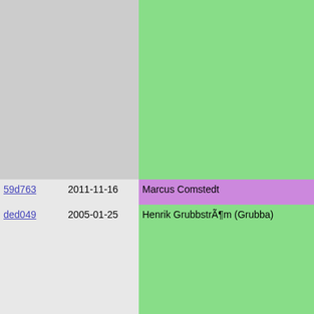| hash | date | author | stripe | code |
| --- | --- | --- | --- | --- |
|  |  |  |  | interpre...
#ifdef PRO
  interpre
  interpre
#endif |
| 59d763 | 2011-11-16 | Marcus Comstedt |  | interpre |
| ded049 | 2005-01-25 | Henrik GrubbstrÃ¶m (Grubba) |  | return 0
}

PMOD_EXPOR
{ |
| d97eb7 | 2011-07-10 | Henrik GrubbstrÃ¶m (Grubba) |  | if (low_ |
| ded049 | 2005-01-25 | Henrik GrubbstrÃ¶m (Grubba) |  | Pike_f
} |
| 669704 | 2000-11-20 | Martin Stjernholm |  |  |
| 71f3a2 | 1998-11-22 | Fredrik HÃ¼binette (Hubbe) |  | #ifdef PIK |
| 62d3e4 | 1998-04-05 | Fredrik HÃ¼binette (Hubbe) |  | {
  static
  if(!sp
  {
    spcb |
| 424d9c | 1999-05-02 | Fredrik HÃ¼binette (Hubbe) |  | dmal |